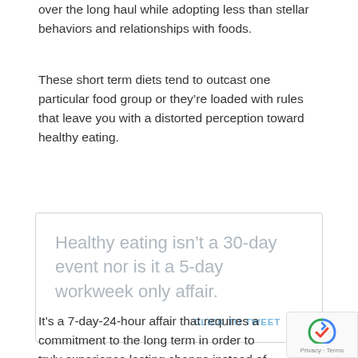over the long haul while adopting less than stellar behaviors and relationships with foods.
These short term diets tend to outcast one particular food group or they're loaded with rules that leave you with a distorted perception toward healthy eating.
[Figure (infographic): Pull quote box with tweet-to-click call to action. Quote reads: Healthy eating isn't a 30-day event nor is it a 5-day workweek only affair. CLICK TO TWEET with Twitter bird icon.]
It's a 7-day-24-hour affair that requires a commitment to the long term in order to truly experience lasting change instead of a mere